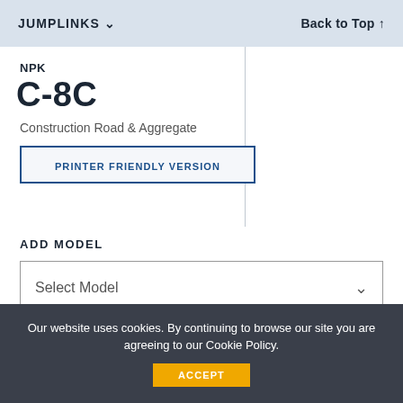JUMPLINKS ∨   Back to Top ↑
NPK
C-8C
Construction Road & Aggregate
PRINTER FRIENDLY VERSION
ADD MODEL
Select Model
Our website uses cookies. By continuing to browse our site you are agreeing to our Cookie Policy.
ACCEPT